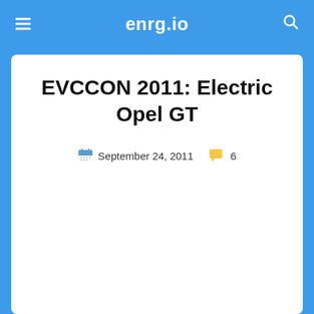enrg.io
EVCCON 2011: Electric Opel GT
September 24, 2011   6